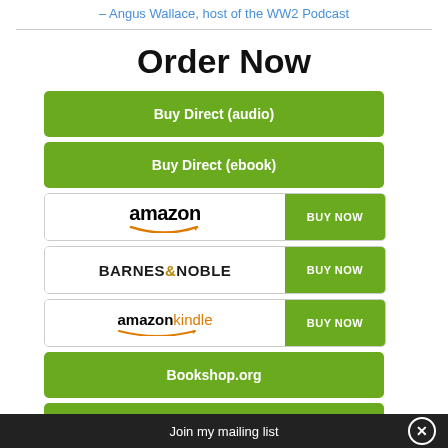– Angus Wallace, host of the WW2 Podcast
Order Now
Buy Direct (audio)
Buy Direct (ebook)
amazon BUY NOW
BARNES & NOBLE BUY NOW
amazon kindle BUY NOW
Bookshop.org
Wargame Vault
kobo BUY NOW
Waterstones
Join my mailing list